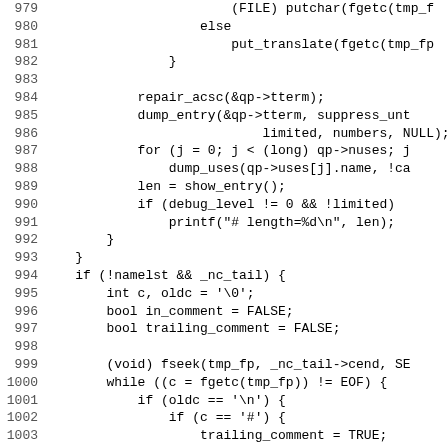[Figure (screenshot): Source code listing in C, lines 979-1011, monospace font, showing code with line numbers on left. Code includes else/put_translate, repair_acsc, dump_entry, for loop, show_entry, debug_level, printf, if(!namelst && _nc_tail), variable declarations, fseek, while loop, if/else chain with trailing_comment and in_comment logic.]